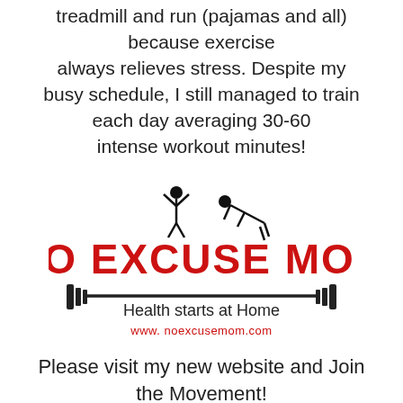treadmill and run (pajamas and all) because exercise always relieves stress. Despite my busy schedule, I still managed to train each day averaging 30-60 intense workout minutes!
[Figure (logo): No Excuse Mom logo with silhouette figures, barbell bar, tagline 'Health starts at Home', and URL www.noexcusemom.com]
Please visit my new website and Join the Movement!
www.noexcusemom.com